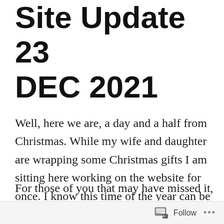Site Update 23 DEC 2021
Well, here we are, a day and a half from Christmas. While my wife and daughter are wrapping some Christmas gifts I am sitting here working on the website for once. I know this time of the year can be emotionally and financially challenging for some people, but I hope everyone can find some joy somehow.
For those of you that may have missed it, I have started a YouTube channel. You can find it
Follow ...